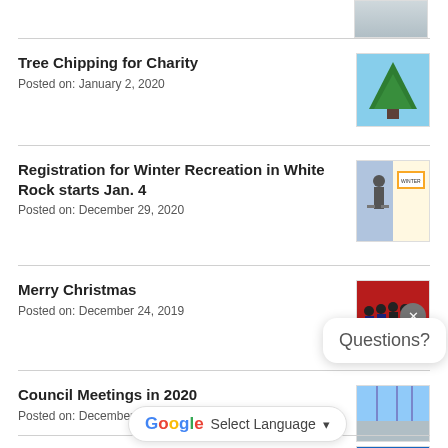[Figure (photo): Partial thumbnail image at top of page (cropped)]
Tree Chipping for Charity
Posted on: January 2, 2020
[Figure (photo): Thumbnail showing a pine/christmas tree against blue sky]
Registration for Winter Recreation in White Rock starts Jan. 4
Posted on: December 29, 2020
[Figure (photo): Thumbnail showing a person snowshoeing with a poster in background]
Merry Christmas
Posted on: December 24, 2019
[Figure (photo): Thumbnail showing group of people in formal wear on red background]
Council Meetings in 2020
Posted on: December 23, 2019
[Figure (photo): Thumbnail showing blue sky with power lines or structures]
Happy Hanukkah
Posted on: Dec[truncated]
[Figure (photo): Thumbnail showing person with White Rock City by the Sea logo]